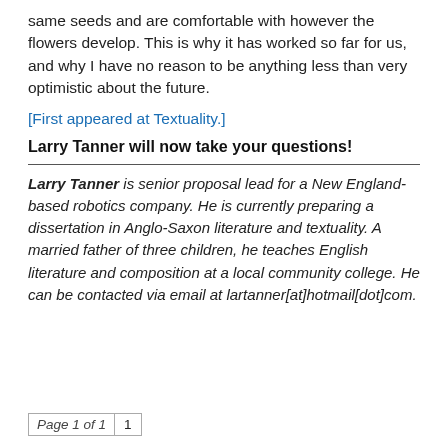same seeds and are comfortable with however the flowers develop. This is why it has worked so far for us, and why I have no reason to be anything less than very optimistic about the future.
[First appeared at Textuality.]
Larry Tanner will now take your questions!
Larry Tanner is senior proposal lead for a New England-based robotics company. He is currently preparing a dissertation in Anglo-Saxon literature and textuality. A married father of three children, he teaches English literature and composition at a local community college. He can be contacted via email at lartanner[at]hotmail[dot]com.
Page 1 of 1  1